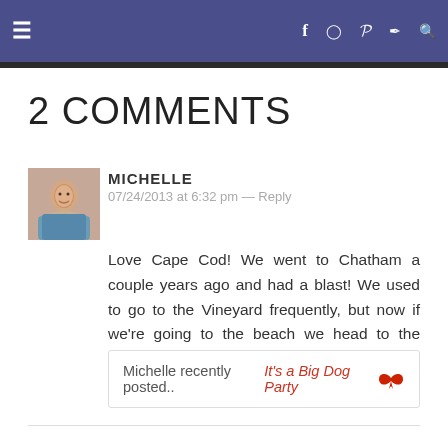≡  f  ◎  p  𝕡  🐦  🔍
2 COMMENTS
[Figure (photo): Profile photo of Michelle, a woman smiling, thumbnail size]
MICHELLE
07/24/2013 at 6:32 pm — Reply
Love Cape Cod! We went to Chatham a couple years ago and had a blast! We used to go to the Vineyard frequently, but now if we're going to the beach we head to the Cape or the Jersey shore!
Michelle recently posted..It's a Big Dog Party